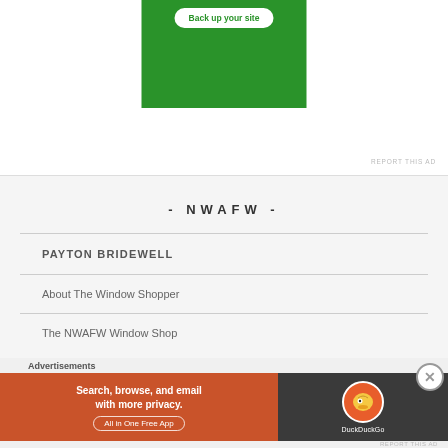[Figure (screenshot): Advertisement box showing 'Back up your site' button on a green background]
REPORT THIS AD
- NWAFW -
PAYTON BRIDEWELL
About The Window Shopper
The NWAFW Window Shop
Advertisements
[Figure (screenshot): DuckDuckGo advertisement banner: 'Search, browse, and email with more privacy. All in One Free App' on orange and dark background with DuckDuckGo logo]
REPORT THIS AD